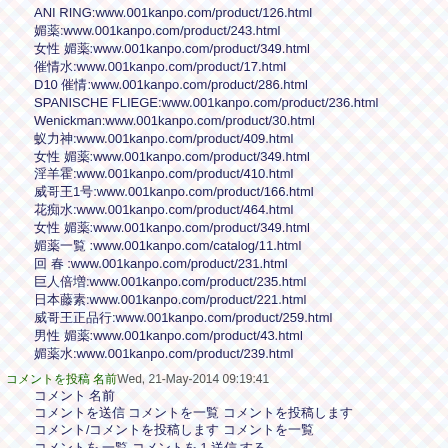ANI RING:www.001kanpo.com/product/126.html
媚薬:www.001kanpo.com/product/243.html
女性 媚薬:www.001kanpo.com/product/349.html
催情水:www.001kanpo.com/product/17.html
D10 催情:www.001kanpo.com/product/286.html
SPANISCHE FLIEGE:www.001kanpo.com/product/236.html
Wenickman:www.001kanpo.com/product/30.html
蚁力神:www.001kanpo.com/product/409.html
女性 媚薬:www.001kanpo.com/product/349.html
淫羊霍:www.001kanpo.com/product/410.html
威哥王1号:www.001kanpo.com/product/166.html
花痴水:www.001kanpo.com/product/464.html
女性 媚薬:www.001kanpo.com/product/349.html
媚薬一覧 :www.001kanpo.com/catalog/11.html
回 春 :www.001kanpo.com/product/231.html
巨人倍増:www.001kanpo.com/product/235.html
日本藤素:www.001kanpo.com/product/221.html
威哥王正品行:www.001kanpo.com/product/259.html
男性 媚薬:www.001kanpo.com/product/43.html
媚薬水:www.001kanpo.com/product/239.html
コメントを投稿 名前Wed, 21-May-2014 09:19:41
コメント 名前
コメントを送信 コメントを一覧 コメントを投稿します
コメント/コメントを投稿します コメントを一覧
コメントを 一覧 コメントを 1 送信 する